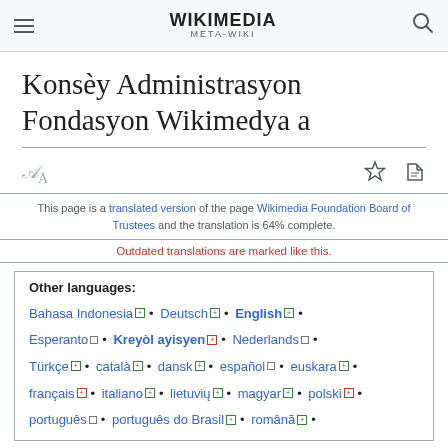WIKIMEDIA META-WIKI
Konsèy Administrasyon Fondasyon Wikimedya a
This page is a translated version of the page Wikimedia Foundation Board of Trustees and the translation is 64% complete.
Outdated translations are marked like this.
Other languages: Bahasa Indonesia • Deutsch • English • Esperanto • Kreyòl ayisyen • Nederlands • Türkçe • català • dansk • español • euskara • français • italiano • lietuvių • magyar • polski • português • português do Brasil • română •